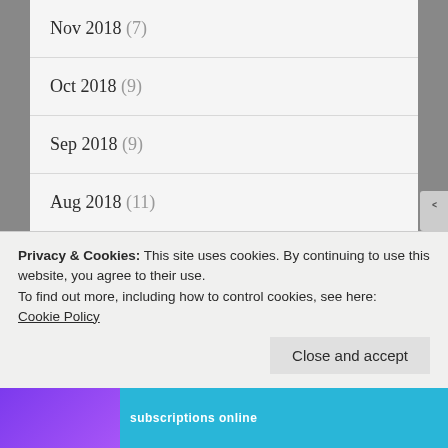Nov 2018 (7)
Oct 2018 (9)
Sep 2018 (9)
Aug 2018 (11)
Jul 2018 (8)
Jun 2018 (11)
May 2018 (11)
Privacy & Cookies: This site uses cookies. By continuing to use this website, you agree to their use.
To find out more, including how to control cookies, see here: Cookie Policy
Close and accept